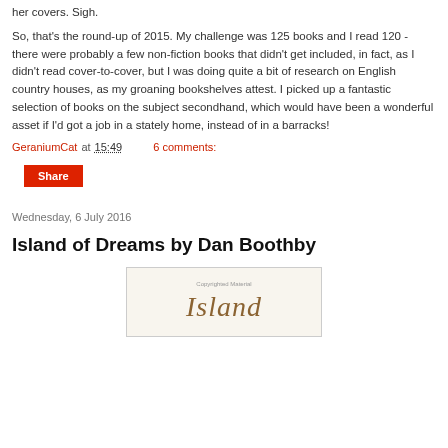her covers. Sigh.
So, that's the round-up of 2015. My challenge was 125 books and I read 120 - there were probably a few non-fiction books that didn't get included, in fact, as I didn't read cover-to-cover, but I was doing quite a bit of research on English country houses, as my groaning bookshelves attest. I picked up a fantastic selection of books on the subject secondhand, which would have been a wonderful asset if I'd got a job in a stately home, instead of in a barracks!
GeraniumCat at 15:49   6 comments:
Share
Wednesday, 6 July 2016
Island of Dreams by Dan Boothby
[Figure (photo): Book cover showing the word 'Island' in brown italic serif font on a light beige background, with 'Copyrighted Material' text above it.]